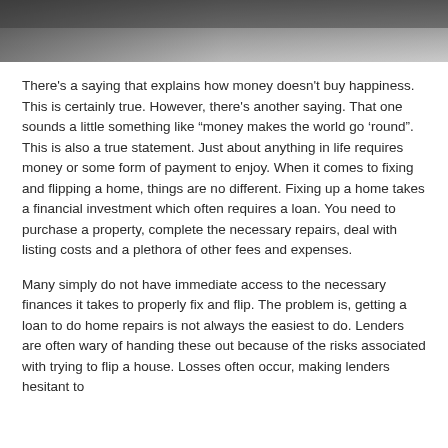[Figure (photo): Top portion of a photo showing hands near a keyboard/laptop, with a dark gray overlay, partially cropped at top of page.]
There's a saying that explains how money doesn't buy happiness. This is certainly true. However, there's another saying. That one sounds a little something like “money makes the world go ‘round”. This is also a true statement. Just about anything in life requires money or some form of payment to enjoy. When it comes to fixing and flipping a home, things are no different. Fixing up a home takes a financial investment which often requires a loan. You need to purchase a property, complete the necessary repairs, deal with listing costs and a plethora of other fees and expenses.
Many simply do not have immediate access to the necessary finances it takes to properly fix and flip. The problem is, getting a loan to do home repairs is not always the easiest to do. Lenders are often wary of handing these out because of the risks associated with trying to flip a house. Losses often occur, making lenders hesitant to